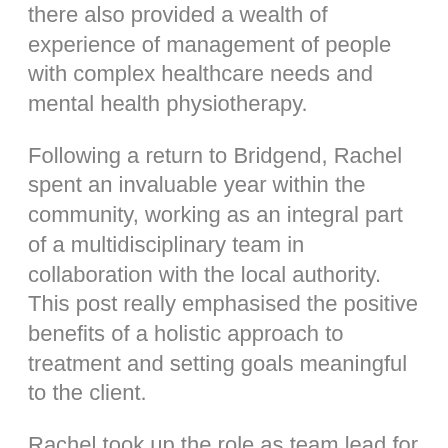there also provided a wealth of experience of management of people with complex healthcare needs and mental health physiotherapy.
Following a return to Bridgend, Rachel spent an invaluable year within the community, working as an integral part of a multidisciplinary team in collaboration with the local authority. This post really emphasised the positive benefits of a holistic approach to treatment and setting goals meaningful to the client.
Rachel took up the role as team lead for stroke services within the Princess of Wales Hospital in 2016, which included both acute care and rehabilitation. Before moving into